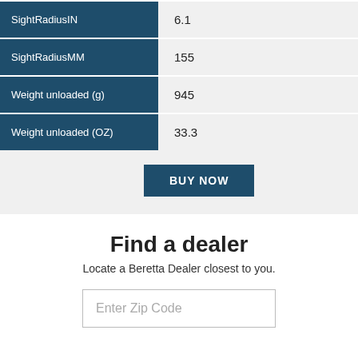| Property | Value |
| --- | --- |
| SightRadiusIN | 6.1 |
| SightRadiusMM | 155 |
| Weight unloaded (g) | 945 |
| Weight unloaded (OZ) | 33.3 |
BUY NOW
Find a dealer
Locate a Beretta Dealer closest to you.
Enter Zip Code